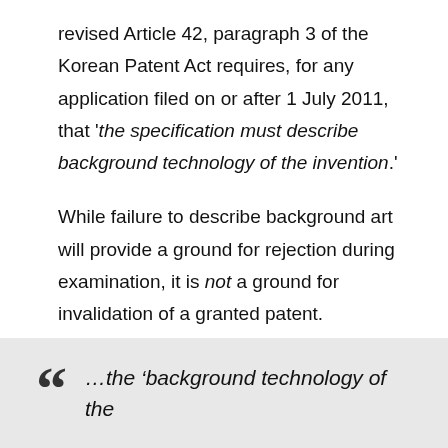revised Article 42, paragraph 3 of the Korean Patent Act requires, for any application filed on or after 1 July 2011, that 'the specification must describe background technology of the invention.'
While failure to describe background art will provide a ground for rejection during examination, it is not a ground for invalidation of a granted patent.
YOU ME also reports that the Korean Examination Guidelines have been revised to explain that:
...the ‘background technology of the